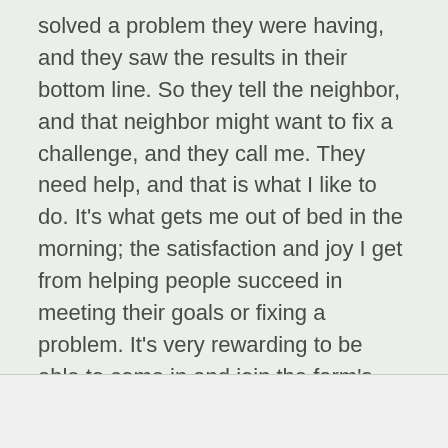solved a problem they were having, and they saw the results in their bottom line. So they tell the neighbor, and that neighbor might want to fix a challenge, and they call me. They need help, and that is what I like to do. It's what gets me out of bed in the morning; the satisfaction and joy I get from helping people succeed in meeting their goals or fixing a problem. It's very rewarding to be able to come in and join the farm's team, working together to offer a fresh perspective and be part of the solution.